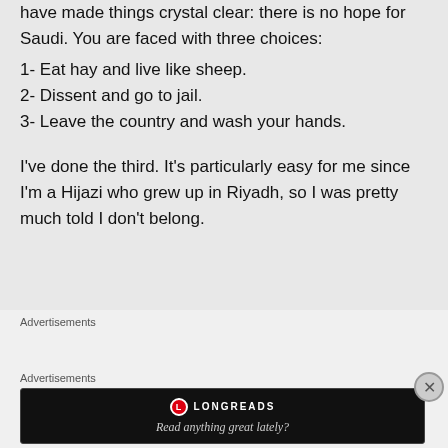have made things crystal clear: there is no hope for Saudi. You are faced with three choices:
1- Eat hay and live like sheep.
2- Dissent and go to jail.
3- Leave the country and wash your hands.
I've done the third. It's particularly easy for me since I'm a Hijazi who grew up in Riyadh, so I was pretty much told I don't belong.
Advertisements
[Figure (screenshot): Green Jetpack advertisement banner]
Advertisements
[Figure (screenshot): Black Longreads advertisement banner with text 'Read anything great lately?']